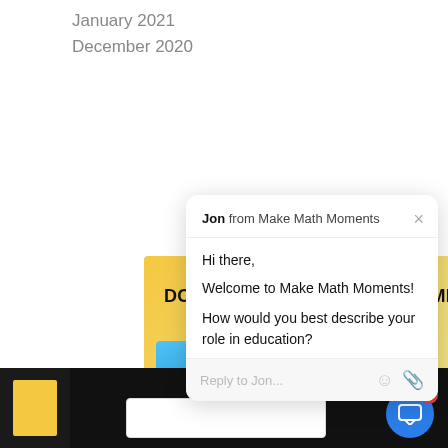January 2021
December 2020
[Figure (screenshot): Yellow promotional banner for 'Download the 3-Part Framework' with a book thumbnail, person photo, and download text 'Download the 20+ Fuel Sense-M...']
[Figure (screenshot): Chat popup overlay from 'Jon from Make Math Moments' saying: Hi there, Welcome to Make Math Moments! How would you best describe your role in education? With a reply input box.]
[Figure (screenshot): Bottom black banner section with sidebar thumbnail and a white dialog box partially visible. Blue chat bubble button with red notification badge showing '1'.]